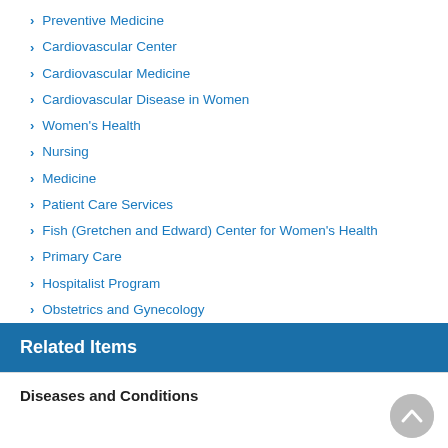Preventive Medicine
Cardiovascular Center
Cardiovascular Medicine
Cardiovascular Disease in Women
Women's Health
Nursing
Medicine
Patient Care Services
Fish (Gretchen and Edward) Center for Women's Health
Primary Care
Hospitalist Program
Obstetrics and Gynecology
General Medical Service
Related Items
Diseases and Conditions